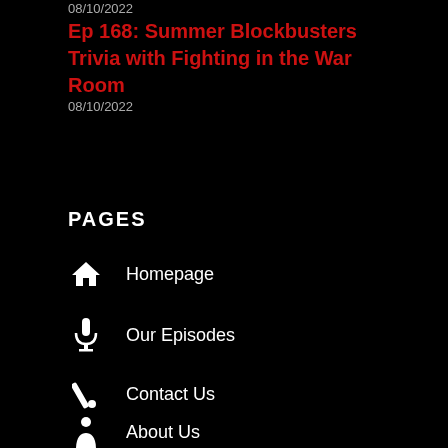08/10/2022
Ep 168: Summer Blockbusters Trivia with Fighting in the War Room
08/10/2022
PAGES
Homepage
Our Episodes
Contact Us
About Us